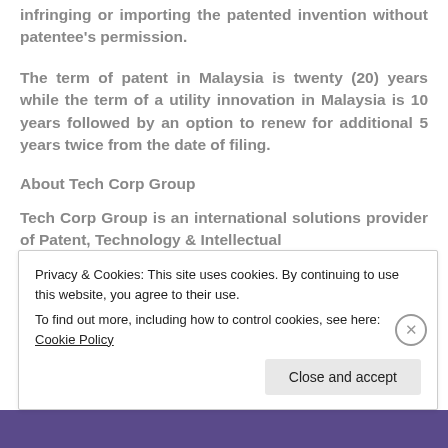infringing or importing the patented invention without patentee's permission.
The term of patent in Malaysia is twenty (20) years while the term of a utility innovation in Malaysia is 10 years followed by an option to renew for additional 5 years twice from the date of filing.
About Tech Corp Group
Tech Corp Group is an international solutions provider of Patent, Technology & Intellectual
Privacy & Cookies: This site uses cookies. By continuing to use this website, you agree to their use.
To find out more, including how to control cookies, see here: Cookie Policy
Close and accept